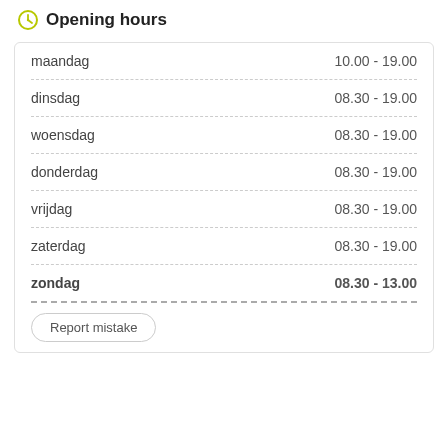Opening hours
| Day | Hours |
| --- | --- |
| maandag | 10.00 - 19.00 |
| dinsdag | 08.30 - 19.00 |
| woensdag | 08.30 - 19.00 |
| donderdag | 08.30 - 19.00 |
| vrijdag | 08.30 - 19.00 |
| zaterdag | 08.30 - 19.00 |
| zondag | 08.30 - 13.00 |
Report mistake